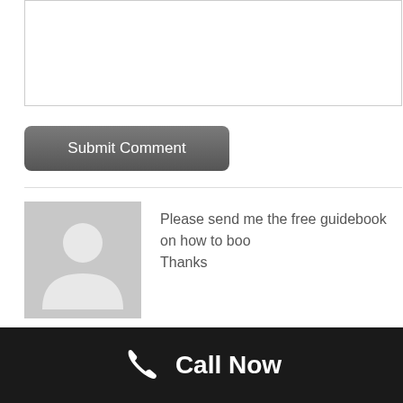[Figure (screenshot): Text input box (comment form textarea) at top of page]
Submit Comment
Please send me the free guidebook on how to boo
Thanks
Tisha Markette
1 year ago
Call Now